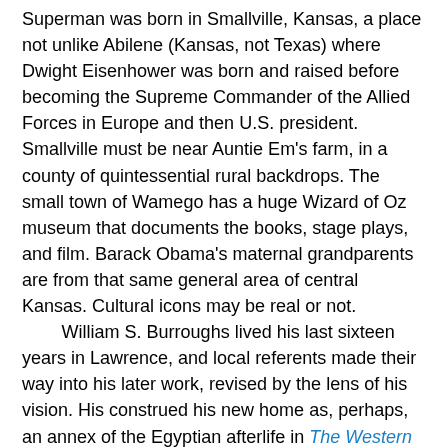Superman was born in Smallville, Kansas, a place not unlike Abilene (Kansas, not Texas) where Dwight Eisenhower was born and raised before becoming the Supreme Commander of the Allied Forces in Europe and then U.S. president. Smallville must be near Auntie Em's farm, in a county of quintessential rural backdrops. The small town of Wamego has a huge Wizard of Oz museum that documents the books, stage plays, and film. Barack Obama's maternal grandparents are from that same general area of central Kansas. Cultural icons may be real or not.
William S. Burroughs lived his last sixteen years in Lawrence, and local referents made their way into his later work, revised by the lens of his vision. His construed his new home as, perhaps, an annex of the Egyptian afterlife in The Western Lands, his 1987 novel where cowboys mingle with Egyptian gods. Sarah Smarsh is a writer who challenges the stereotypes of Kansas, and all rural areas, in her book Heartland. She analyzes and describes farmers' poverty with anecdotes from her family.
A host of writers are from Kansas. They veer between the observed world and that of the imagination as they ply their trade. I hesitate to start listing them, for fear of leaving